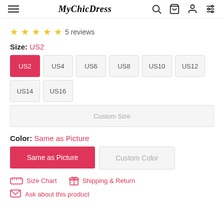MyChicDress navigation header
★★★★★ 5 reviews
Size: US2
US2 (selected), US4, US6, US8, US10, US12, US14, US16, Custom Size
Color: Same as Picture
Same as Picture (selected), Custom Color
Size Chart | Shipping & Return
Ask about this product